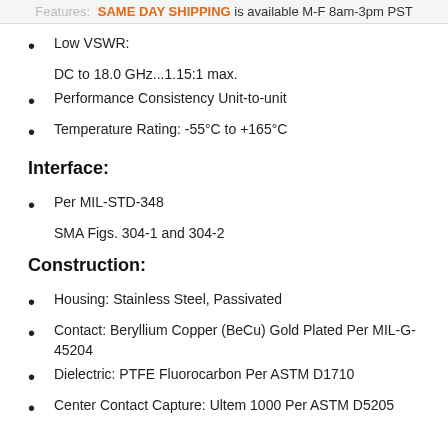Features: SAME DAY SHIPPING is available M-F 8am-3pm PST
Low VSWR:
DC to 18.0 GHz...1.15:1 max.
Performance Consistency Unit-to-unit
Temperature Rating: -55°C to +165°C
Interface:
Per MIL-STD-348
SMA Figs. 304-1 and 304-2
Construction:
Housing: Stainless Steel, Passivated
Contact: Beryllium Copper (BeCu) Gold Plated Per MIL-G-45204
Dielectric: PTFE Fluorocarbon Per ASTM D1710
Center Contact Capture: Ultem 1000 Per ASTM D5205